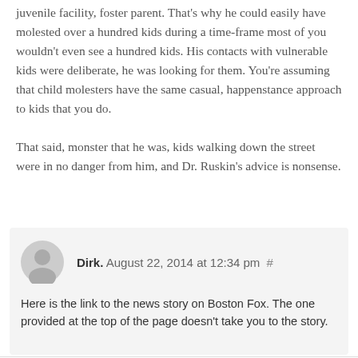juvenile facility, foster parent. That's why he could easily have molested over a hundred kids during a time-frame most of you wouldn't even see a hundred kids. His contacts with vulnerable kids were deliberate, he was looking for them. You're assuming that child molesters have the same casual, happenstance approach to kids that you do.
That said, monster that he was, kids walking down the street were in no danger from him, and Dr. Ruskin's advice is nonsense.
Dirk. August 22, 2014 at 12:34 pm #
Here is the link to the news story on Boston Fox. The one provided at the top of the page doesn't take you to the story.
http://www.myfoxboston.com/clip/10485470/at-what-age-is-it-ok-to-leave-your-kids-alone